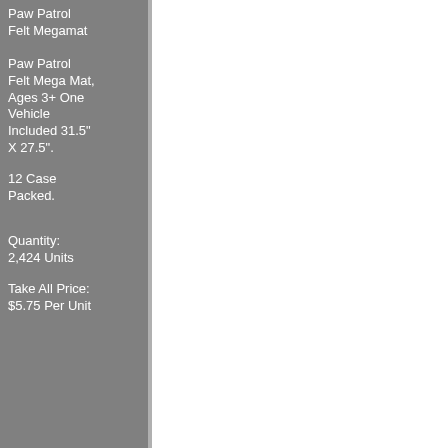Paw Patrol Felt Megamat
Paw Patrol Felt Mega Mat, Ages 3+ One Vehicle Included 31.5" X 27.5".
12 Case Packed.
Quantity: 2,424 Units
Take All Price: $5.75 Per Unit